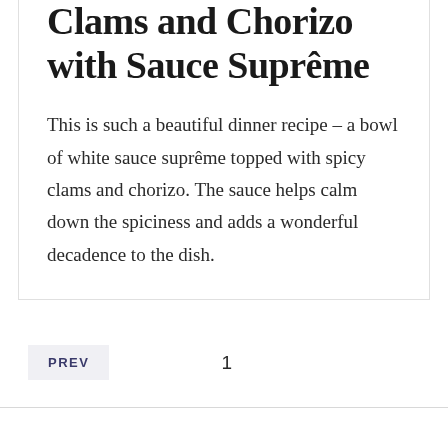Clams and Chorizo with Sauce Suprême
This is such a beautiful dinner recipe – a bowl of white sauce suprême topped with spicy clams and chorizo. The sauce helps calm down the spiciness and adds a wonderful decadence to the dish.
PREV   1   2